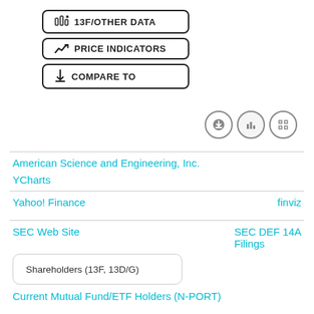[Figure (screenshot): Navigation buttons: 13F/OTHER DATA, PRICE INDICATORS, COMPARE TO with chart icons]
American Science and Engineering, Inc.
YCharts
Yahoo! Finance
finviz
SEC Web Site
SEC DEF 14A Filings
Shareholders (13F, 13D/G)
Current Mutual Fund/ETF Holders (N-PORT)